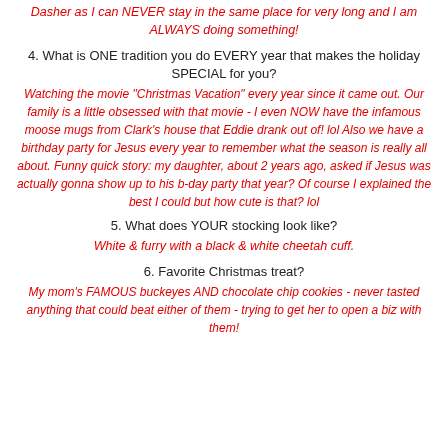Dasher as I can NEVER stay in the same place for very long and I am ALWAYS doing something!
4. What is ONE tradition you do EVERY year that makes the holiday SPECIAL for you?
Watching the movie "Christmas Vacation" every year since it came out. Our family is a little obsessed with that movie - I even NOW have the infamous moose mugs from Clark's house that Eddie drank out of! lol Also we have a birthday party for Jesus every year to remember what the season is really all about. Funny quick story: my daughter, about 2 years ago, asked if Jesus was actually gonna show up to his b-day party that year? Of course I explained the best I could but how cute is that? lol
5. What does YOUR stocking look like?
White & furry with a black & white cheetah cuff.
6. Favorite Christmas treat?
My mom's FAMOUS buckeyes AND chocolate chip cookies - never tasted anything that could beat either of them - trying to get her to open a biz with them!